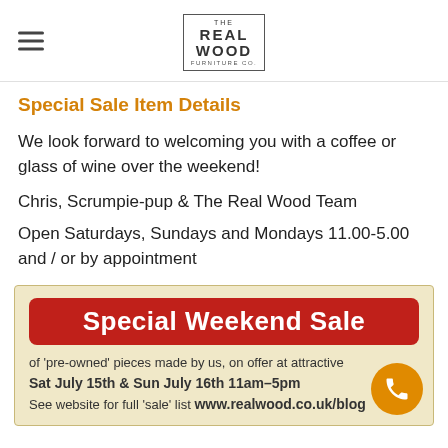THE REAL WOOD FURNITURE CO.
Special Sale Item Details
We look forward to welcoming you with a coffee or glass of wine over the weekend!
Chris, Scrumpie-pup & The Real Wood Team
Open Saturdays, Sundays and Mondays 11.00-5.00 and / or by appointment
[Figure (infographic): Promotional banner for Special Weekend Sale of pre-owned pieces made by them, on offer at attractive prices. Sat July 15th & Sun July 16th 11am-5pm. See website for full sale list www.realwood.co.uk/blog. Orange phone button in bottom right.]